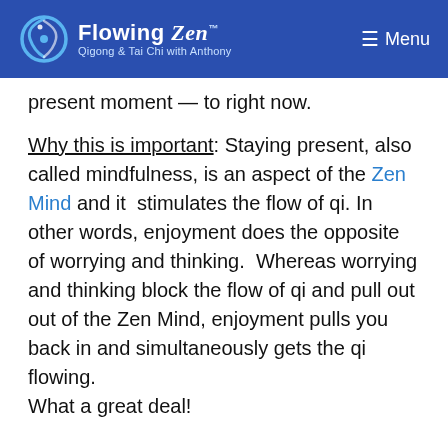Flowing Zen — Qigong & Tai Chi with Anthony | Menu
present moment — to right now.
Why this is important: Staying present, also called mindfulness, is an aspect of the Zen Mind and it stimulates the flow of qi. In other words, enjoyment does the opposite of worrying and thinking. Whereas worrying and thinking block the flow of qi and pull out out of the Zen Mind, enjoyment pulls you back in and simultaneously gets the qi flowing. What a great deal!